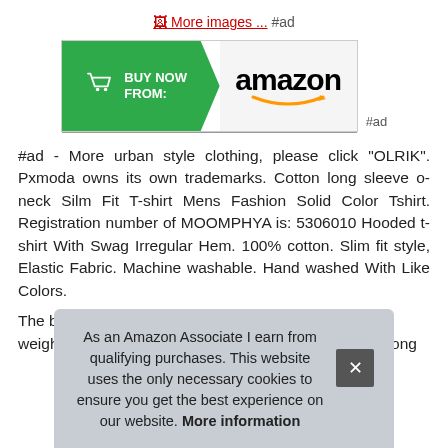[Figure (screenshot): Link with broken image icon text 'More images ...' followed by '#ad' in gray]
[Figure (screenshot): Amazon Buy Now banner button with green arrow shape on left containing shopping cart icon and 'BUY NOW FROM:' text, and Amazon logo with smile on right gray section. '#ad' label to the right.]
#ad - More urban style clothing, please click "OLRIK". Pxmoda owns its own trademarks. Cotton long sleeve o-neck Silm Fit T-shirt Mens Fashion Solid Color Tshirt. Registration number of MOOMPHYA is: 5306010 Hooded t-shirt With Swag Irregular Hem. 100% cotton. Slim fit style, Elastic Fabric. Machine washable. Hand washed With Like Colors.
The... bas... on T... weighted, safeguard your skin. Feature:long drop tail, long
As an Amazon Associate I earn from qualifying purchases. This website uses the only necessary cookies to ensure you get the best experience on our website. More information